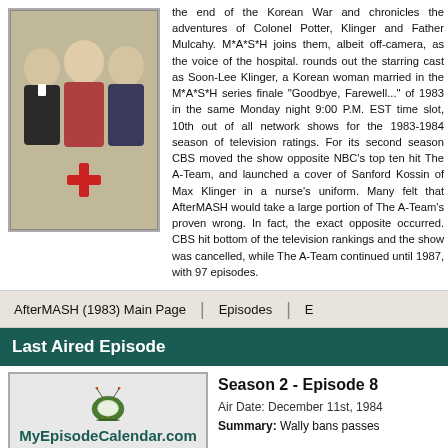[Figure (photo): Cast photo of AfterMASH TV show with a red cross below the photo]
the end of the Korean War and chronicles the adventures of Colonel Potter, Klinger and Father Mulcahy. M*A*S*H joins them, albeit off-camera, as the voice of the hospital. rounds out the starring cast as Soon-Lee Klinger, a Korean woman married in the M*A*S*H series finale "Goodbye, Farewell..." of 1983 in the same Monday night 9:00 P.M. EST time slot, 10th out of all network shows for the 1983-1984 season of television ratings. For its second season CBS moved the show opposite NBC's top ten hit The A-Team, and launched a cover of Sanford Kossin of Max Klinger in a nurse's uniform. Many felt that AfterMASH would take a large portion of The A-Team's proven wrong. In fact, the exact opposite occurred. CBS hit bottom of the television rankings and the show was cancelled, while The A-Team continued until 1987, with 97 episodes.
AfterMASH (1983) Main Page | Episodes | E
Last Aired Episode
[Figure (logo): MyEpisodeCalendar.com logo with cartoon green TV icon]
Season 2 - Episode 8
Air Date: December 11st, 1984
Summary: Wally bans passes